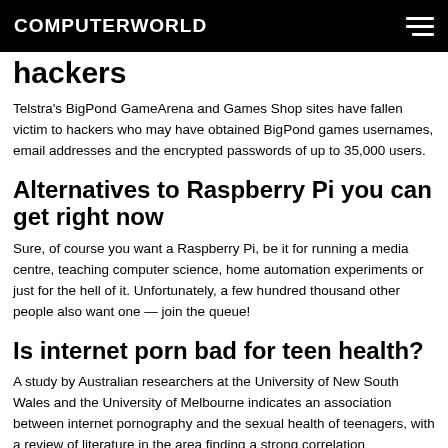COMPUTERWORLD
hackers
Telstra's BigPond GameArena and Games Shop sites have fallen victim to hackers who may have obtained BigPond games usernames, email addresses and the encrypted passwords of up to 35,000 users.
Alternatives to Raspberry Pi you can get right now
Sure, of course you want a Raspberry Pi, be it for running a media centre, teaching computer science, home automation experiments or just for the hell of it. Unfortunately, a few hundred thousand other people also want one &#8212; join the queue!
Is internet porn bad for teen health?
A study by Australian researchers at the University of New South Wales and the University of Melbourne indicates an association between internet pornography and the sexual health of teenagers, with a review of literature in the area finding a strong correlation